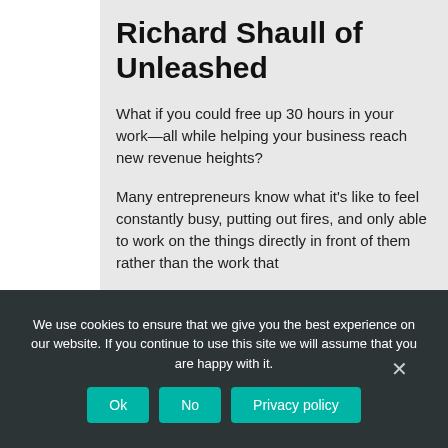Richard Shaull of Unleashed
What if you could free up 30 hours in your work—all while helping your business reach new revenue heights?
Many entrepreneurs know what it's like to feel constantly busy, putting out fires, and only able to work on the things directly in front of them rather than the work that
We use cookies to ensure that we give you the best experience on our website. If you continue to use this site we will assume that you are happy with it.